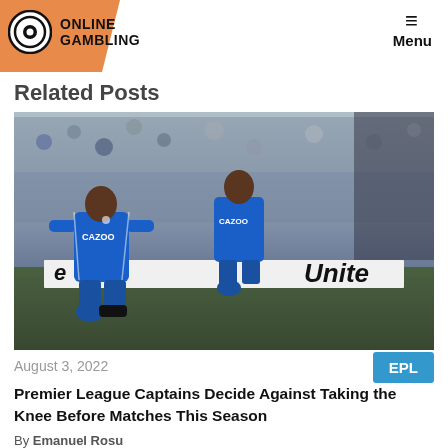Online Gambling | Menu
Related Posts
[Figure (photo): Two Everton football players in blue CAZOO jerseys taking a knee on the pitch before a match, with a crowded stadium in the background and 'Unite' advertisement board visible.]
August 3, 2022
EPL
Premier League Captains Decide Against Taking the Knee Before Matches This Season
By Emanuel Rosu